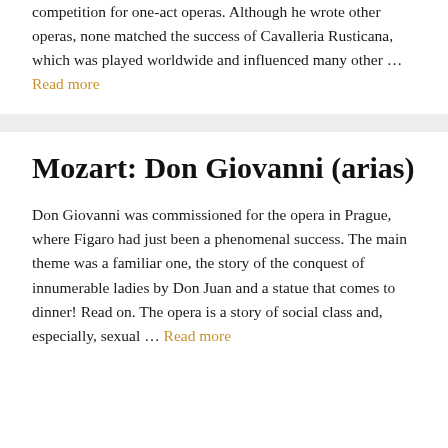competition for one-act operas. Although he wrote other operas, none matched the success of Cavalleria Rusticana, which was played worldwide and influenced many other … Read more
Mozart: Don Giovanni (arias)
Don Giovanni was commissioned for the opera in Prague, where Figaro had just been a phenomenal success. The main theme was a familiar one, the story of the conquest of innumerable ladies by Don Juan and a statue that comes to dinner! Read on. The opera is a story of social class and, especially, sexual … Read more